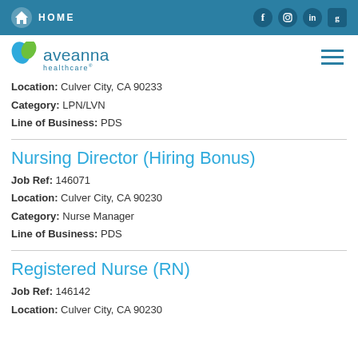HOME
[Figure (logo): Aveanna Healthcare logo with teal and green leaf icon]
Location: Culver City, CA 90233
Category: LPN/LVN
Line of Business: PDS
Nursing Director (Hiring Bonus)
Job Ref: 146071
Location: Culver City, CA 90230
Category: Nurse Manager
Line of Business: PDS
Registered Nurse (RN)
Job Ref: 146142
Location: Culver City, CA 90230